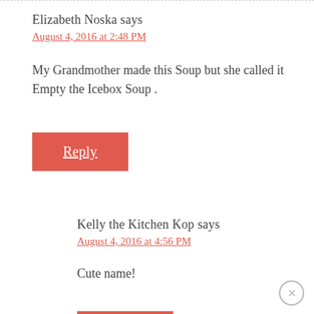Elizabeth Noska says
August 4, 2016 at 2:48 PM
My Grandmother made this Soup but she called it Empty the Icebox Soup .
Reply
Kelly the Kitchen Kop says
August 4, 2016 at 4:56 PM
Cute name!
Reply